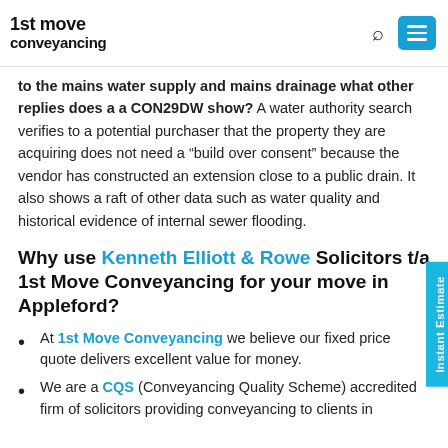1st move conveyancing
to the mains water supply and mains drainage what other replies does a a CON29DW show? A water authority search verifies to a potential purchaser that the property they are acquiring does not need a “build over consent” because the vendor has constructed an extension close to a public drain. It also shows a raft of other data such as water quality and historical evidence of internal sewer flooding.
Why use Kenneth Elliott & Rowe Solicitors t/a 1st Move Conveyancing for your move in Appleford?
At 1st Move Conveyancing we believe our fixed price quote delivers excellent value for money.
We are a CQS (Conveyancing Quality Scheme) accredited firm of solicitors providing conveyancing to clients in